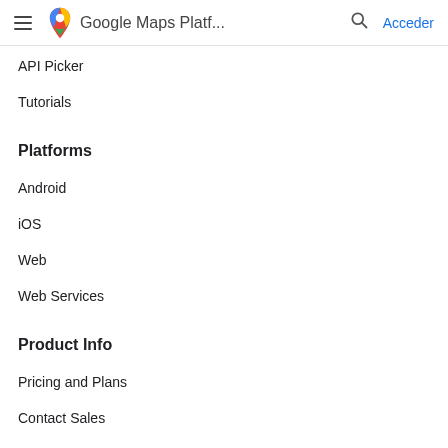Google Maps Platf...  Acceder
API Picker
Tutorials
Platforms
Android
iOS
Web
Web Services
Product Info
Pricing and Plans
Contact Sales
Support